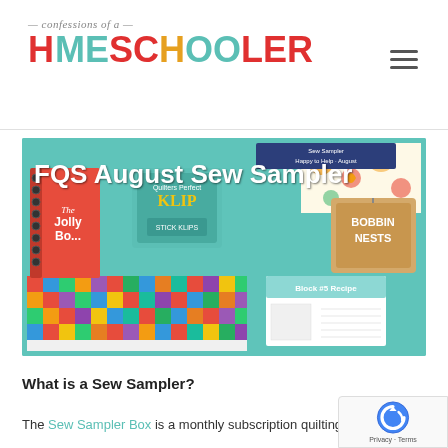confessions of a HOMESCHOOLER
[Figure (photo): FQS August Sew Sampler box contents including a colorful quilt book, color grid fabric, floral fabric, Quilters Perfect Klip product, Stick Klips, Bobbin Nests, and a Block #5 Recipe card, all laid out in a teal box. Title overlay reads 'FQS August Sew Sampler'.]
What is a Sew Sampler?
The Sew Sampler Box is a monthly subscription quilting box